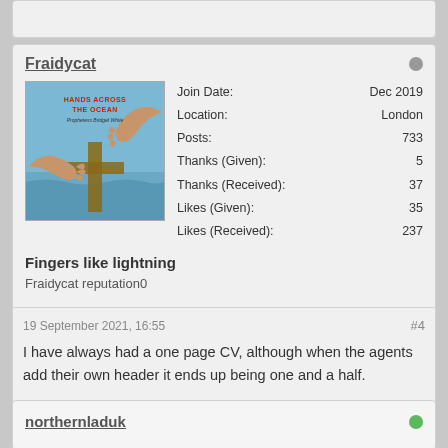Fraidycat
[Figure (illustration): Album/book cover art showing 'Hands Across The Ocean - Prophetess Bridget White' with illustrated hands reaching toward a cross on a blue background]
Join Date: Dec 2019
Location: London
Posts: 733
Thanks (Given): 5
Thanks (Received): 37
Likes (Given): 35
Likes (Received): 237
Fingers like lightning
Fraidycat reputation0
19 September 2021, 16:55
#4
I have always had a one page CV, although when the agents add their own header it ends up being one and a half.
northernladuk